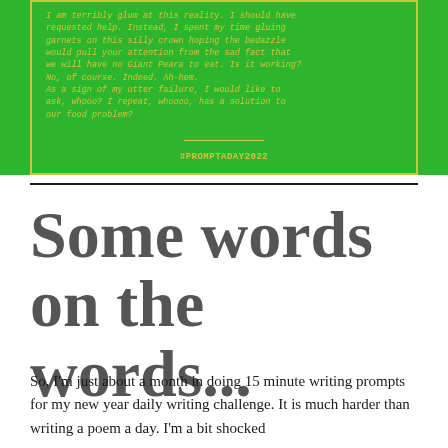[Figure (illustration): Green background image with yellow border containing italic monospaced text about food problems, with #PROMPTADAY2022 hashtag at the bottom center with a yellow underline.]
Some words on the words...
So, I'm just about a month in doing 15 minute writing prompts for my new year daily writing challenge. It is much harder than writing a poem a day. I'm a bit shocked